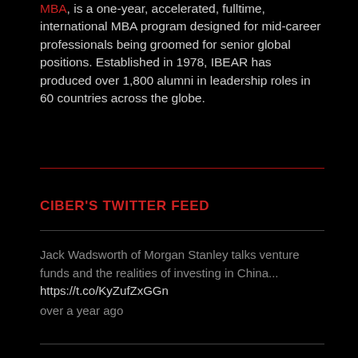MBA, is a one-year, accelerated, fulltime, international MBA program designed for mid-career professionals being groomed for senior global positions. Established in 1978, IBEAR has produced over 1,800 alumni in leadership roles in 60 countries across the globe.
CIBER'S TWITTER FEED
Jack Wadsworth of Morgan Stanley talks venture funds and the realities of investing in China... https://t.co/KyZufZxGGn over a year ago